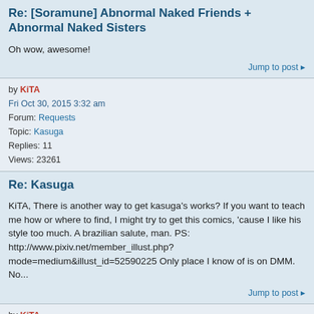Re: [Soramune] Abnormal Naked Friends + Abnormal Naked Sisters
Oh wow, awesome!
Jump to post »
by KiTA
Fri Oct 30, 2015 3:32 am
Forum: Requests
Topic: Kasuga
Replies: 11
Views: 23261
Re: Kasuga
KiTA, There is another way to get kasuga's works? If you want to teach me how or where to find, I might try to get this comics, 'cause I like his style too much. A brazilian salute, man. PS: http://www.pixiv.net/member_illust.php?mode=medium&illust_id=52590225 Only place I know of is on DMM. No...
Jump to post »
by KiTA
Fri Oct 02, 2015 5:46 pm
Forum: Requests
Topic: Kasuga
Replies: 11
Views: 23261
Re: Kasuga
http://www.r18.com/ecomics/manga/detail/We-re-Totally-Naked--Kasuga-